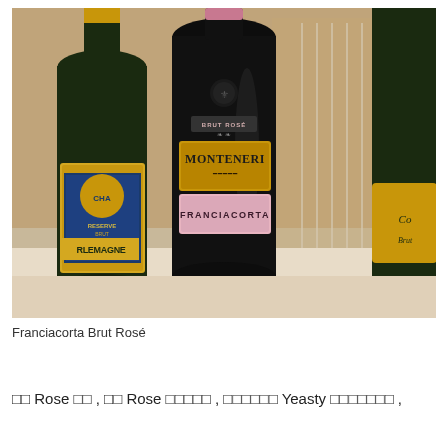[Figure (photo): Three dark sparkling wine bottles arranged together with champagne flutes in the background. The center bottle shows a label reading 'Brut Rosé' at the top and 'Monteneri Franciacorta' on a pink label. The left bottle shows 'Charlemagne Reserve Brut' label. The right bottle is partially visible with a gold label.]
Franciacorta Brut Rosé
□□ Rose □□ , □□ Rose □□□□□ , □□□□□□ Yeasty □□□□□□□ ,